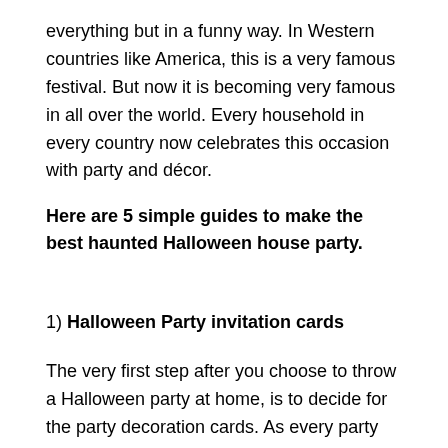everything but in a funny way. In Western countries like America, this is a very famous festival. But now it is becoming very famous in all over the world. Every household in every country now celebrates this occasion with party and décor.
Here are 5 simple guides to make the best haunted Halloween house party.
1) Halloween Party invitation cards
The very first step after you choose to throw a Halloween party at home, is to decide for the party decoration cards. As every party invitation, it is best to reflect the theme and essence of the party. Likewise, for a Halloween party, it is best to choose the creepy invitation card. One common is the